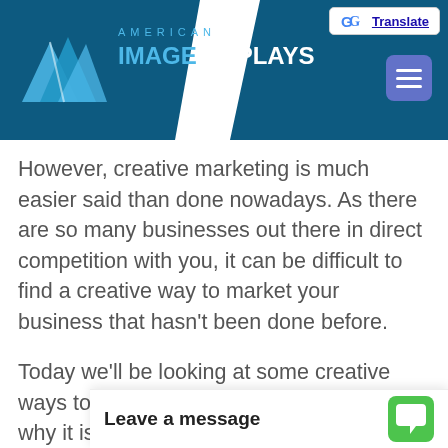American Image Displays
However, creative marketing is much easier said than done nowadays. As there are so many businesses out there in direct competition with you, it can be difficult to find a creative way to market your business that hasn't been done before.
Today we'll be looking at some creative ways to market your business as well as why it is so important to get your name out there and keep it there. We hope that our article will spark some creative juices within you and help you continue domi...
Leave a message